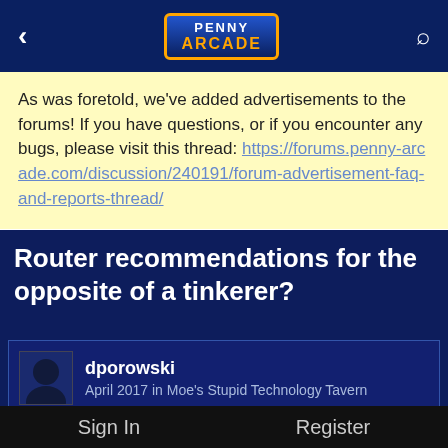Penny Arcade
As was foretold, we've added advertisements to the forums! If you have questions, or if you encounter any bugs, please visit this thread: https://forums.penny-arcade.com/discussion/240191/forum-advertisement-faq-and-reports-thread/
Router recommendations for the opposite of a tinkerer?
dporowski
April 2017 in Moe's Stupid Technology Tavern
So yeah, I've had a Cisco/Linksys E4200 for years now, and it appears to be going, for want of a better word, "fucky". Can't even update the firmware to most recent, and every so often I lose WAN connectivity, which is annoying as hell. Figure it's been 5+ years of good service, so...
Sign In    Register